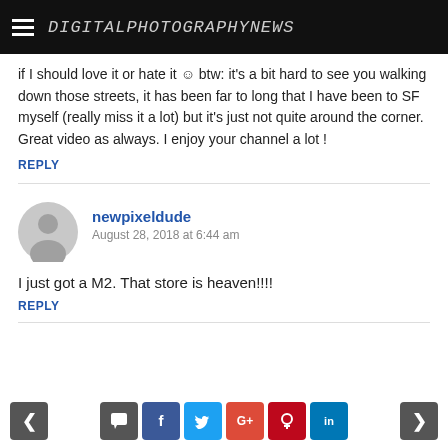DigitalPhotographyNews
if I should love it or hate it ☺ btw: it's a bit hard to see you walking down those streets, it has been far to long that I have been to SF myself (really miss it a lot) but it's just not quite around the corner. Great video as always. I enjoy your channel a lot !
REPLY
newpixeldude
August 28, 2018 at 6:44 am
I just got a M2. That store is heaven!!!!
REPLY
< [comment] f t G+ p in >